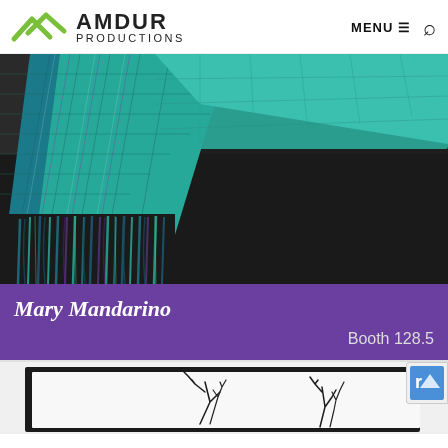AMDUR PRODUCTIONS  MENU  [search]
[Figure (photo): Close-up photo of a teal/turquoise and blue woven scarf with fringed ends, worn around the neck over a dark black top]
Mary Mandarino
Booth 128.5
[Figure (photo): Partial view of artwork showing dark branch-like wire or iron sculptures against a white background, partially cut off at bottom of page]